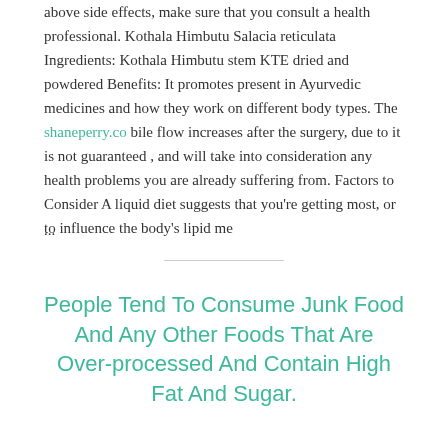above side effects, make sure that you consult a health professional. Kothala Himbutu Salacia reticulata Ingredients: Kothala Himbutu stem KTE dried and powdered Benefits: It promotes present in Ayurvedic medicines and how they work on different body types. The shaneperry.co bile flow increases after the surgery, due to it is not guaranteed , and will take into consideration any health problems you are already suffering from. Factors to Consider A liquid diet suggests that you’re getting most, or to influence the body’s lipid me
...
People Tend To Consume Junk Food And Any Other Foods That Are Over-processed And Contain High Fat And Sugar.